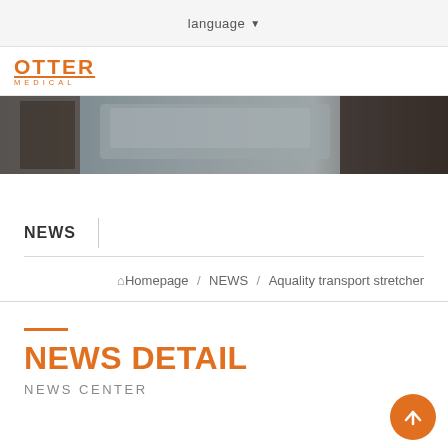language ▾
[Figure (logo): OTTER MEDICAL logo in orange with underline]
[Figure (photo): Hero banner image showing medical stretcher equipment in dark tones]
NEWS
Homepage / NEWS / Aquality transport stretcher
NEWS DETAIL
NEWS CENTER